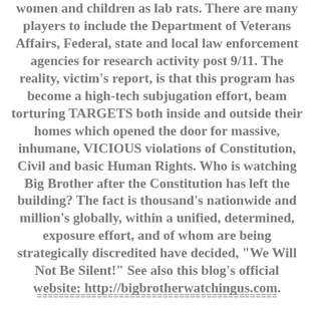women and children as lab rats. There are many players to include the Department of Veterans Affairs, Federal, state and local law enforcement agencies for research activity post 9/11. The reality, victim's report, is that this program has become a high-tech subjugation effort, beam torturing TARGETS both inside and outside their homes which opened the door for massive, inhumane, VICIOUS violations of Constitution, Civil and basic Human Rights. Who is watching Big Brother after the Constitution has left the building? The fact is thousand's nationwide and million's globally, within a unified, determined, exposure effort, and of whom are being strategically discredited have decided, "We Will Not Be Silent!" See also this blog's official website: http://bigbrotherwatchingus.com.
============================================